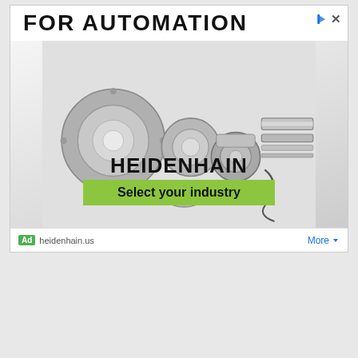[Figure (illustration): Heidenhain advertisement banner showing industrial encoders, rings, and linear scale products against a light background. Large bold text reads 'FOR AUTOMATION' at the top. Products include circular encoders/bearings and linear scale systems. Brand name HEIDENHAIN displayed prominently. Green banner with text 'Select your industry' at the bottom of the ad. Ad footer shows 'Ad heidenhain.us' and 'More' button.]